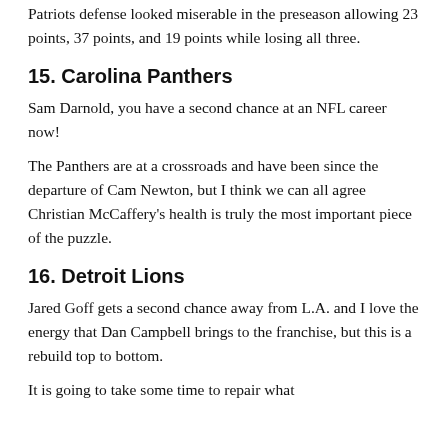Patriots defense looked miserable in the preseason allowing 23 points, 37 points, and 19 points while losing all three.
15. Carolina Panthers
Sam Darnold, you have a second chance at an NFL career now!
The Panthers are at a crossroads and have been since the departure of Cam Newton, but I think we can all agree Christian McCaffery's health is truly the most important piece of the puzzle.
16. Detroit Lions
Jared Goff gets a second chance away from L.A. and I love the energy that Dan Campbell brings to the franchise, but this is a rebuild top to bottom.
It is going to take some time to repair what